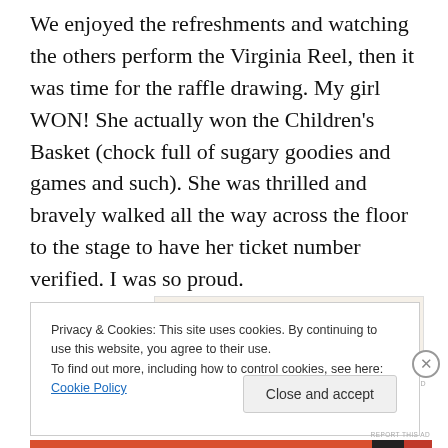We enjoyed the refreshments and watching the others perform the Virginia Reel, then it was time for the raffle drawing. My girl WON! She actually won the Children's Basket (chock full of sugary goodies and games and such). She was thrilled and bravely walked all the way across the floor to the stage to have her ticket number verified. I was so proud.
[Figure (other): WordPress advertisement banner: 'Professionally designed sites in less than a week' with WordPress logo]
Privacy & Cookies: This site uses cookies. By continuing to use this website, you agree to their use.
To find out more, including how to control cookies, see here: Cookie Policy